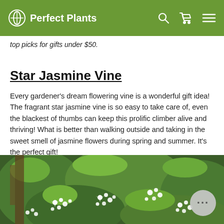Perfect Plants
top picks for gifts under $50.
Star Jasmine Vine
Every gardener's dream flowering vine is a wonderful gift idea! The fragrant star jasmine vine is so easy to take care of, even the blackest of thumbs can keep this prolific climber alive and thriving! What is better than walking outside and taking in the sweet smell of jasmine flowers during spring and summer. It's the perfect gift!
[Figure (photo): Photo of a star jasmine vine with abundant white flowers and green leaves]